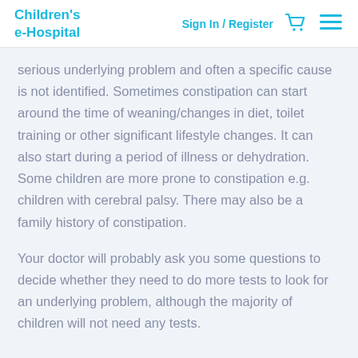Children's e-Hospital | Sign In / Register
serious underlying problem and often a specific cause is not identified. Sometimes constipation can start around the time of weaning/changes in diet, toilet training or other significant lifestyle changes. It can also start during a period of illness or dehydration. Some children are more prone to constipation e.g. children with cerebral palsy. There may also be a family history of constipation.
Your doctor will probably ask you some questions to decide whether they need to do more tests to look for an underlying problem, although the majority of children will not need any tests.